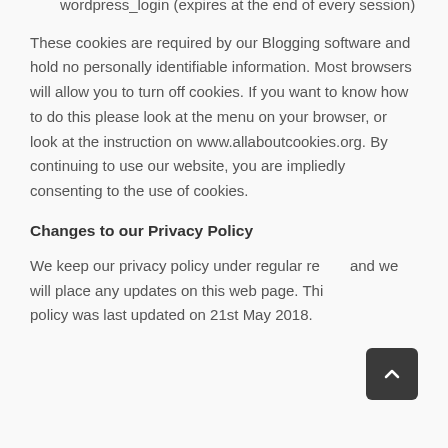wordpress_login (expires at the end of every session)
These cookies are required by our Blogging software and hold no personally identifiable information. Most browsers will allow you to turn off cookies. If you want to know how to do this please look at the menu on your browser, or look at the instruction on www.allaboutcookies.org. By continuing to use our website, you are impliedly consenting to the use of cookies.
Changes to our Privacy Policy
We keep our privacy policy under regular review and we will place any updates on this web page. This privacy policy was last updated on 21st May 2018.